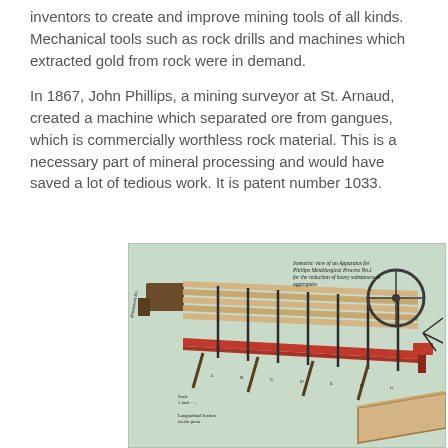inventors to create and improve mining tools of all kinds. Mechanical tools such as rock drills and machines which extracted gold from rock were in demand.
In 1867, John Phillips, a mining surveyor at St. Arnaud, created a machine which separated ore from gangues, which is commercially worthless rock material. This is a necessary part of mineral processing and would have saved a lot of tedious work. It is patent number 1033.
[Figure (engineering-diagram): Isometric view of an apparatus for Phillips Metallurgical Process No.1 - an ore separation machine showing a wooden frame structure with parallel rails, mechanical components including a wheel/pulley, and cross-members. Handwritten annotations and labels visible on the diagram. A collection tray shown at the bottom right.]